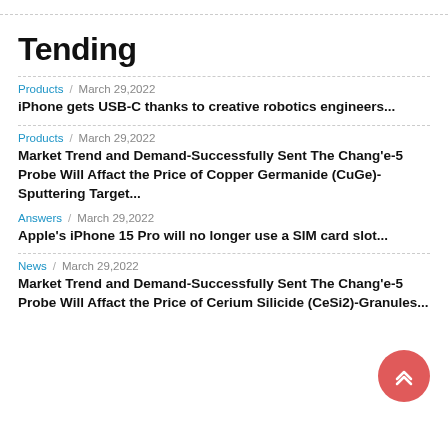Tending
Products / March 29,2022
iPhone gets USB-C thanks to creative robotics engineers...
Products / March 29,2022
Market Trend and Demand-Successfully Sent The Chang'e-5 Probe Will Affact the Price of Copper Germanide (CuGe)-Sputtering Target...
Answers / March 29,2022
Apple's iPhone 15 Pro will no longer use a SIM card slot...
News / March 29,2022
Market Trend and Demand-Successfully Sent The Chang'e-5 Probe Will Affact the Price of Cerium Silicide (CeSi2)-Granules...